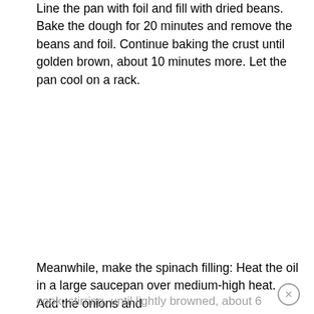Line the pan with foil and fill with dried beans. Bake the dough for 20 minutes and remove the beans and foil. Continue baking the crust until golden brown, about 10 minutes more. Let the pan cool on a rack.
Meanwhile, make the spinach filling: Heat the oil in a large saucepan over medium-high heat. Add the onions and cook, stirring, until lightly browned, about 6 minutes. Add the rice and cook, stirring occasionally, for 2 minutes. Add the spinach, little by little (adding more as the previous